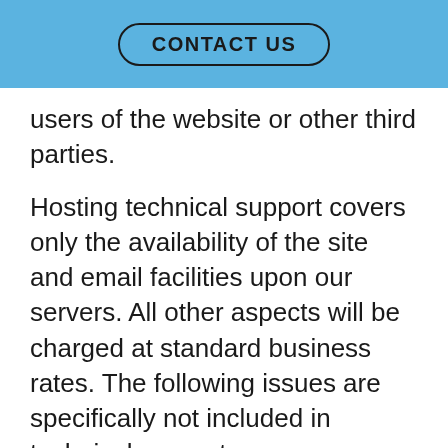CONTACT US
users of the website or other third parties.
Hosting technical support covers only the availability of the site and email facilities upon our servers. All other aspects will be charged at standard business rates. The following issues are specifically not included in technical support:
DNS issue caused by domain names hosted by third parties.
Connection to specific client networks.
Connection to website browsers other than